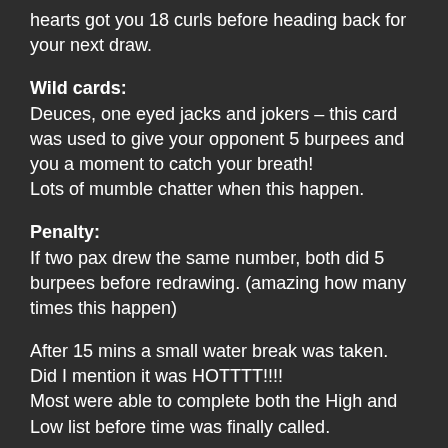hearts got you 18 curls before heading back for your next draw.
Wild cards:
Deuces, one eyed jacks and jokers – this card was used to give your opponent 5 burpees and you a moment to catch your breath!
Lots of mumble chatter when this happen.
Penalty:
If two pax drew the same number, both did 5 burpees before redrawing. (amazing how many times this happen)
After 15 mins a small water break was taken. Did I mention it was HOTTTT!!!!
Most were able to complete both the High and Low list before time was finally called.
High Card Side (all done with cylinder blocks)